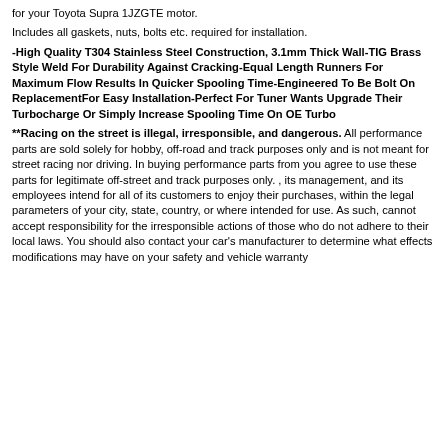for your Toyota Supra 1JZGTE motor.
Includes all gaskets, nuts, bolts etc. required for installation.
-High Quality T304 Stainless Steel Construction, 3.1mm Thick Wall-TIG Brass Style Weld For Durability Against Cracking-Equal Length Runners For Maximum Flow Results In Quicker Spooling Time-Engineered To Be Bolt On ReplacementFor Easy Installation-Perfect For Tuner Wants Upgrade Their Turbocharge Or Simply Increase Spooling Time On OE Turbo
**Racing on the street is illegal, irresponsible, and dangerous. All performance parts are sold solely for hobby, off-road and track purposes only and is not meant for street racing nor driving. In buying performance parts from you agree to use these parts for legitimate off-street and track purposes only. , its management, and its employees intend for all of its customers to enjoy their purchases, within the legal parameters of your city, state, country, or where intended for use. As such, cannot accept responsibility for the irresponsible actions of those who do not adhere to their local laws. You should also contact your car's manufacturer to determine what effects modifications may have on your safety and vehicle warranty